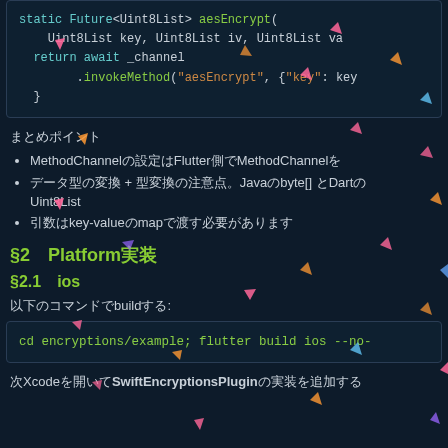[Figure (screenshot): Code block showing Dart static Future<Uint8List> aesEncrypt function with MethodChannel invocation]
まとめポイント
MethodChannelの設定はFlutter側でMethodChannelを
データ型の変換 + 型変換の注意点。JavaのByte[]とDartのUint8List
引数はkey-valueのmapで渡す必要があります
§2　Platform実装
§2.1　ios
以下のコマンドでbuildする:
[Figure (screenshot): Terminal code block: cd encryptions/example; flutter build ios --no-]
次にXcodeを開いてSwiftEncryptionsPluginの実装を追加する